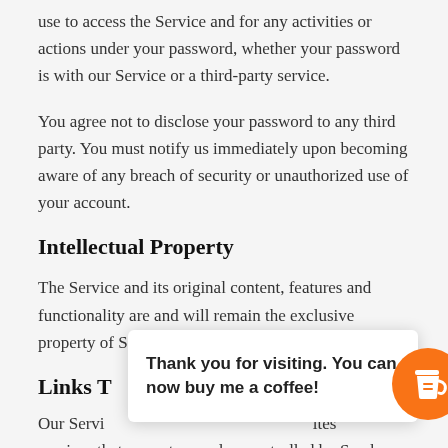use to access the Service and for any activities or actions under your password, whether your password is with our Service or a third-party service.
You agree not to disclose your password to any third party. You must notify us immediately upon becoming aware of any breach of security or unauthorized use of your account.
Intellectual Property
The Service and its original content, features and functionality are and will remain the exclusive property of Sarah Gives and its licensors.
Links T
Our Servi                                                           ites services that are not owned or controlled by Sarah Gives.
[Figure (other): Popup overlay with text 'Thank you for visiting. You can now buy me a coffee!' and an orange circular coffee cup button icon on the right.]